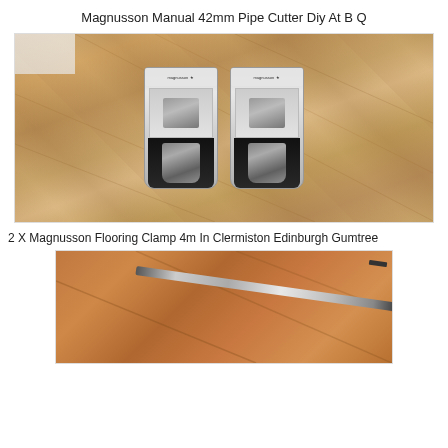Magnusson Manual 42mm Pipe Cutter Diy At B Q
[Figure (photo): Two Magnusson Manual 42mm Pipe Cutters in retail blister packaging, placed side by side on a wooden floor]
2 X Magnusson Flooring Clamp 4m In Clermiston Edinburgh Gumtree
[Figure (photo): Close-up photo of a wooden floor with a long thin tool (flooring clamp bar) diagonally across it]